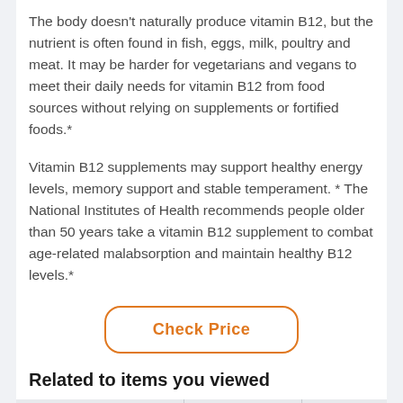The body doesn't naturally produce vitamin B12, but the nutrient is often found in fish, eggs, milk, poultry and meat. It may be harder for vegetarians and vegans to meet their daily needs for vitamin B12 from food sources without relying on supplements or fortified foods.*
Vitamin B12 supplements may support healthy energy levels, memory support and stable temperament. * The National Institutes of Health recommends people older than 50 years take a vitamin B12 supplement to combat age-related malabsorption and maintain healthy B12 levels.*
Check Price
Related to items you viewed
| Top Products | Reviews | Price |
| --- | --- | --- |